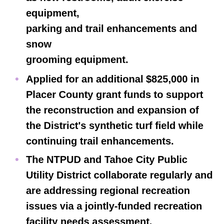as new restrooms, adult exercise equipment, parking and trail enhancements and snow grooming equipment.
Applied for an additional $825,000 in Placer County grant funds to support the reconstruction and expansion of the District's synthetic turf field while continuing trail enhancements.
The NTPUD and Tahoe City Public Utility District collaborate regularly and are addressing regional recreation issues via a jointly-funded recreation facility needs assessment.
Instituted a new fee structure and marketing plan for the North Tahoe Event Center to